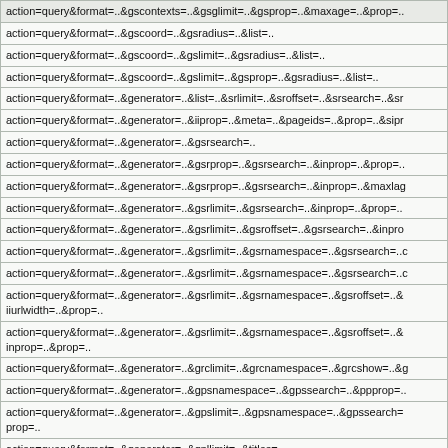| action=query&format=..&gscontexts=..&gsglimit=..&gsprop=..&maxage=..&prop=.. |
| action=query&format=..&gscoord=..&gsradius=..&list=.. |
| action=query&format=..&gscoord=..&gslimit=..&gsradius=..&list=.. |
| action=query&format=..&gscoord=..&gslimit=..&gsprop=..&gsradius=..&list=.. |
| action=query&format=..&generator=..&list=..&srlimit=..&sroffset=..&srsearch=..&sr |
| action=query&format=..&generator=..&iiprop=..&meta=..&pageids=..&prop=..&sipr |
| action=query&format=..&generator=..&gsrsearch=.. |
| action=query&format=..&generator=..&gsrprop=..&gsrsearch=..&inprop=..&prop=.. |
| action=query&format=..&generator=..&gsrprop=..&gsrsearch=..&inprop=..&maxlag |
| action=query&format=..&generator=..&gsrlimit=..&gsrsearch=..&inprop=..&prop=.. |
| action=query&format=..&generator=..&gsrlimit=..&gsroffset=..&gsrsearch=..&inpro |
| action=query&format=..&generator=..&gsrlimit=..&gsrnamespace=..&gsrsearch=..c |
| action=query&format=..&generator=..&gsrlimit=..&gsrnamespace=..&gsrsearch=..c |
| action=query&format=..&generator=..&gsrlimit=..&gsrnamespace=..&gsroffset=..&
iiurlwidth=..&prop=.. |
| action=query&format=..&generator=..&gsrlimit=..&gsrnamespace=..&gsroffset=..&
inprop=..&prop=.. |
| action=query&format=..&generator=..&grclimit=..&grcnamespace=..&grcshow=..&g |
| action=query&format=..&generator=..&gpsnamespace=..&gpssearch=..&ppprop=.. |
| action=query&format=..&generator=..&gpslimit=..&gpsnamespace=..&gpssearch=
prop=.. |
| action=query&format=..&generator=..&gpllimit=..&titles=.. |
| action=query&format=..&generator=..&gpllimit=..&prop=..&titles=.. |
| action=query&format=..&generator=..&gpllimit=..&ppprop=..&prop=..&titles=.. |
| action=query&format=..&generator=..&gpllimit=..&inprop=..&prop=..&titles=.. |